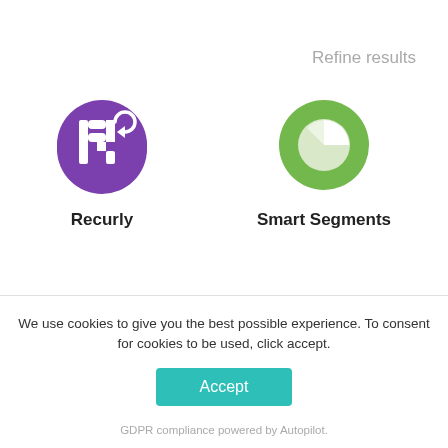Refine results
[Figure (logo): Recurly logo - purple circle with white stylized R letter]
Recurly
[Figure (logo): Smart Segments logo - green circle with white pie chart icon]
Smart Segments
[Figure (logo): Green circle with white envelope/pencil icon (partially visible)]
[Figure (logo): Red/pink circle with white document/list icon (partially visible)]
We use cookies to give you the best possible experience. To consent for cookies to be used, click accept.
Accept
GDPR compliance powered by Autopilot.